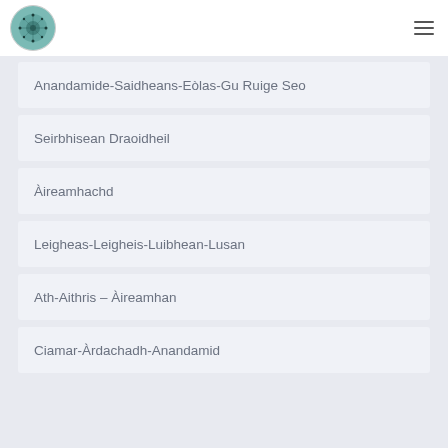Anandamide-Saidheans-Eòlas-Gu Ruige Seo
Seirbhisean Draoidheil
Àireamhachd
Leigheas-Leigheis-Luibhean-Lusan
Ath-Aithris – Àireamhan
Ciamar-Àrdachadh-Anandamid